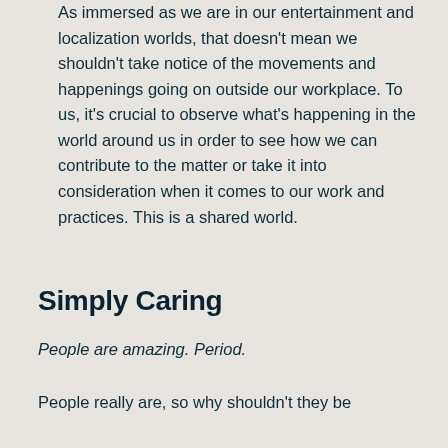As immersed as we are in our entertainment and localization worlds, that doesn't mean we shouldn't take notice of the movements and happenings going on outside our workplace. To us, it's crucial to observe what's happening in the world around us in order to see how we can contribute to the matter or take it into consideration when it comes to our work and practices. This is a shared world.
Simply Caring
People are amazing. Period.
People really are, so why shouldn't they be